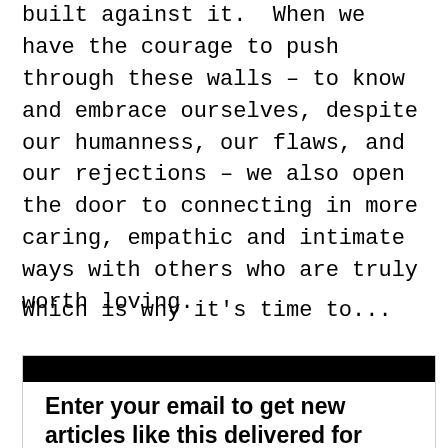built against it. When we have the courage to push through these walls – to know and embrace ourselves, despite our humanness, our flaws, and our rejections – we also open the door to connecting in more caring, empathic and intimate ways with others who are truly worth loving.
Which is why it's time to...
Enter your email to get new articles like this delivered for free.
Join 130,000+ subscribers and get life-changing ideas in your inbox.